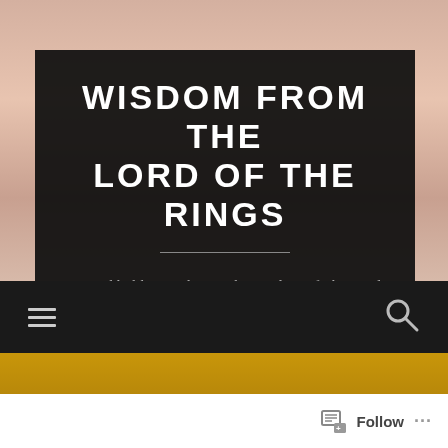[Figure (photo): Background photo of an elderly man with long white hair and beard, warm brown/pink tones, resembling Gandalf from Lord of the Rings]
WISDOM FROM THE LORD OF THE RINGS
A weekly blog exploring the wisdom of The Lord of the Rings
Follow ...